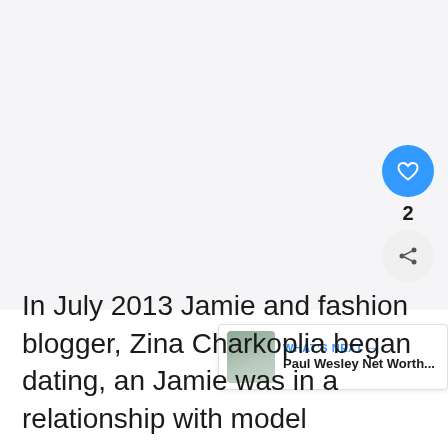[Figure (photo): Large white/light grey image placeholder area at top of page]
In July 2013 Jamie and fashion blogger, Zina Charkoplia began dating, an Jamie was in a relationship with model
[Figure (infographic): Floating action button with heart icon (blue circle), count '2', and share icon below]
[Figure (screenshot): What's Next widget showing Paul Wesley Net Worth... with thumbnail photo]